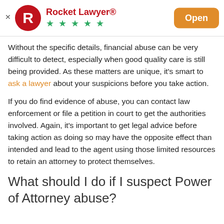[Figure (logo): Rocket Lawyer logo with red circle containing white R, brand name in red, five green stars, and an orange Open button]
Without the specific details, financial abuse can be very difficult to detect, especially when good quality care is still being provided. As these matters are unique, it's smart to ask a lawyer about your suspicions before you take action.
If you do find evidence of abuse, you can contact law enforcement or file a petition in court to get the authorities involved. Again, it's important to get legal advice before taking action as doing so may have the opposite effect than intended and lead to the agent using those limited resources to retain an attorney to protect themselves.
What should I do if I suspect Power of Attorney abuse?